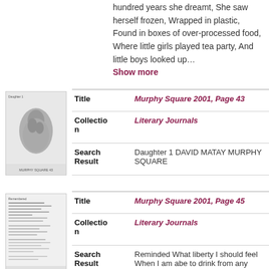hundred years she dreamt, She saw herself frozen, Wrapped in plastic, Found in boxes of over-processed food, Where little girls played tea party, And little boys looked up…
Show more
[Figure (photo): Thumbnail image of Murphy Square 2001 page 43, showing a black and white photo of a sculpture]
| Field | Value |
| --- | --- |
| Title | Murphy Square 2001, Page 43 |
| Collection | Literary Journals |
| Search Result | Daughter 1 DAVID MATAY MURPHY SQUARE |
[Figure (photo): Thumbnail image of Murphy Square 2001 page 45, showing a text-heavy page]
| Field | Value |
| --- | --- |
| Title | Murphy Square 2001, Page 45 |
| Collection | Literary Journals |
| Search Result | Reminded What liberty I should feel When I am abe to drink from any |